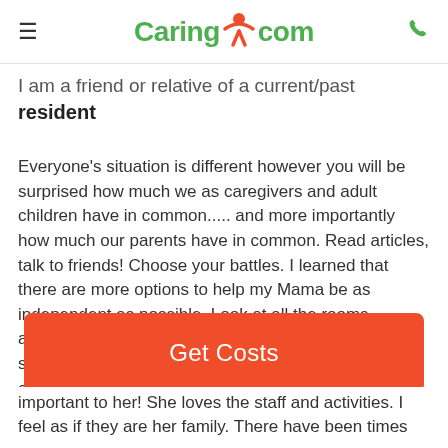Caring.com
I am a friend or relative of a current/past resident
Everyone's situation is different however you will be surprised how much we as caregivers and adult children have in common..... and more importantly how much our parents have in common. Read articles, talk to friends! Choose your battles. I learned that there are more options to help my Mama be as independent as possible. Look at all the rooms available and the grounds and entrances. There is something for everyone. Safety was one of our main concerns. I know Mama feels
Get Costs
important to her! She loves the staff and activities. I feel as if they are her family. There have been times